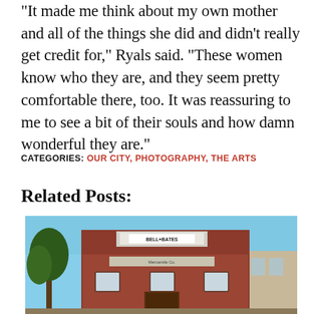“It made me think about my own mother and all of the things she did and didn’t really get credit for,” Ryals said. “These women know who they are, and they seem pretty comfortable there, too. It was reassuring to me to see a bit of their souls and how damn wonderful they are.”
CATEGORIES: OUR CITY, PHOTOGRAPHY, THE ARTS
Related Posts:
[Figure (photo): Exterior photograph of a red brick building with 'BELL+BATES' sign on top, blue sky in background, trees visible on left side.]